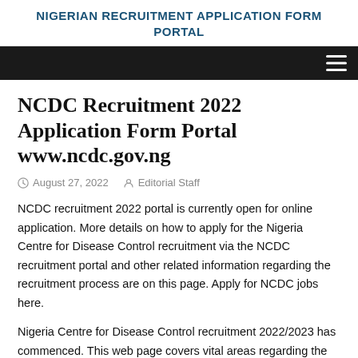NIGERIAN RECRUITMENT APPLICATION FORM PORTAL
NCDC Recruitment 2022 Application Form Portal www.ncdc.gov.ng
August 27, 2022   Editorial Staff
NCDC recruitment 2022 portal is currently open for online application. More details on how to apply for the Nigeria Centre for Disease Control recruitment via the NCDC recruitment portal and other related information regarding the recruitment process are on this page. Apply for NCDC jobs here.
Nigeria Centre for Disease Control recruitment 2022/2023 has commenced. This web page covers vital areas regarding the